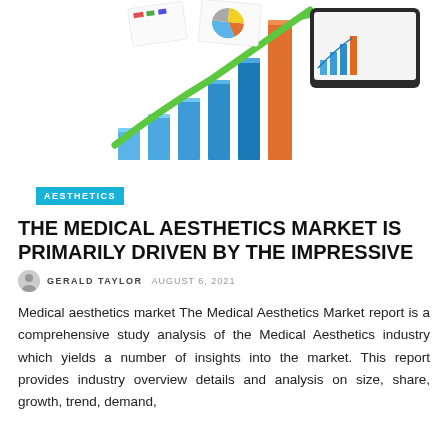[Figure (illustration): Decorative illustration showing a bar chart with blue and orange bars with a green upward arrow, a pie chart, and a tablet/device displaying charts and graphs — representing market analytics and growth.]
AESTHETICS
THE MEDICAL AESTHETICS MARKET IS PRIMARILY DRIVEN BY THE IMPRESSIVE
GERALD TAYLOR  AUGUST 6, 2021
Medical aesthetics market The Medical Aesthetics Market report is a comprehensive study analysis of the Medical Aesthetics industry which yields a number of insights into the market. This report provides industry overview details and analysis on size, share, growth, trend, demand, methodology, competitive...